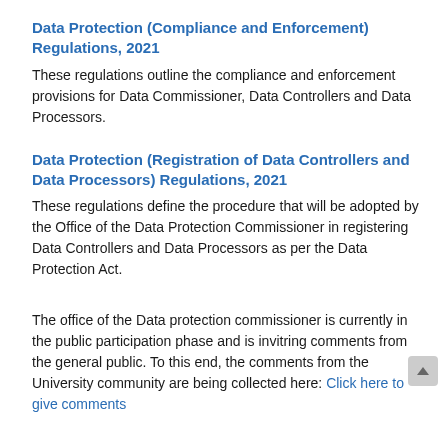Data Protection (Compliance and Enforcement) Regulations, 2021
These regulations outline the compliance and enforcement provisions for Data Commissioner, Data Controllers and Data Processors.
Data Protection (Registration of Data Controllers and Data Processors) Regulations, 2021
These regulations define the procedure that will be adopted by the Office of the Data Protection Commissioner in registering Data Controllers and Data Processors as per the Data Protection Act.
The office of the Data protection commissioner is currently in the public participation phase and is invitring comments from the general public. To this end, the comments from the University community are being collected here: Click here to give comments